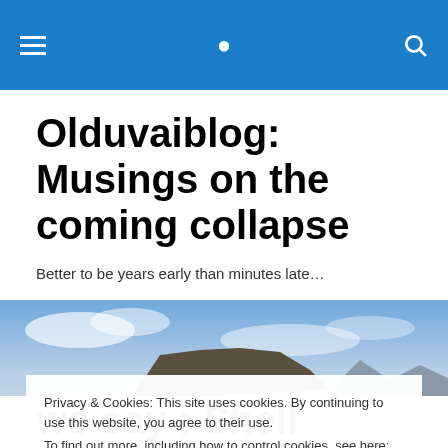Olduvaiblog navigation bar with hamburger menu and search icon
Olduvaiblog: Musings on the coming collapse
Better to be years early than minutes late…
[Figure (photo): Panoramic landscape photo showing an arid desert scene with a flat-topped mountain/mesa in the background under a partly cloudy sky.]
Privacy & Cookies: This site uses cookies. By continuing to use this website, you agree to their use.
To find out more, including how to control cookies, see here: Cookie Policy
Close and accept
we say : Shell cancels U.S.